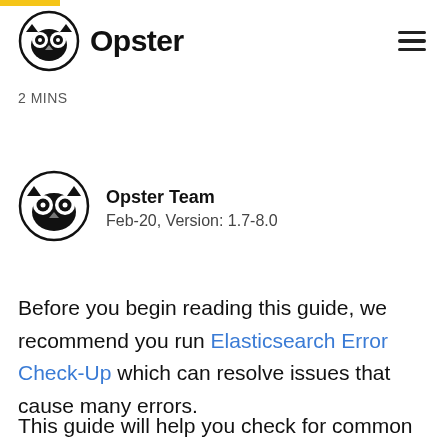[Figure (logo): Opster logo: owl face icon in a circle followed by bold text 'Opster']
2 MINS
[Figure (logo): Circular Opster owl avatar for author]
Opster Team
Feb-20, Version: 1.7-8.0
Before you begin reading this guide, we recommend you run Elasticsearch Error Check-Up which can resolve issues that cause many errors.
This guide will help you check for common problems that cause the log " Using local